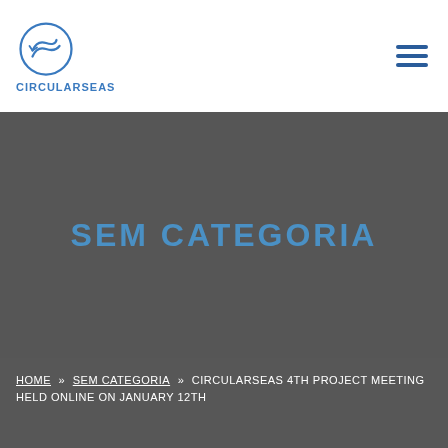[Figure (logo): CircularSeas logo: circular arrow/wave icon above text CIRCULARSEAS in blue]
SEM CATEGORIA
HOME » SEM CATEGORIA » CIRCULARSEAS 4TH PROJECT MEETING HELD ONLINE ON JANUARY 12TH